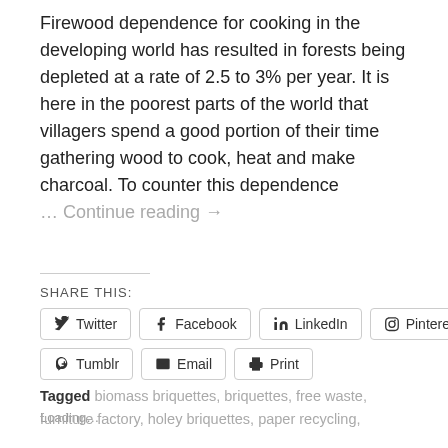Firewood dependence for cooking in the developing world has resulted in forests being depleted at a rate of 2.5 to 3% per year. It is here in the poorest parts of the world that villagers spend a good portion of their time gathering wood to cook, heat and make charcoal. To counter this dependence … Continue reading →
SHARE THIS:
Twitter | Facebook | LinkedIn | Pinterest | Tumblr | Email | Print
Loading...
Tagged biomass briquettes, briquettes, free waste, furniture factory, holey briquettes, paper recycling,